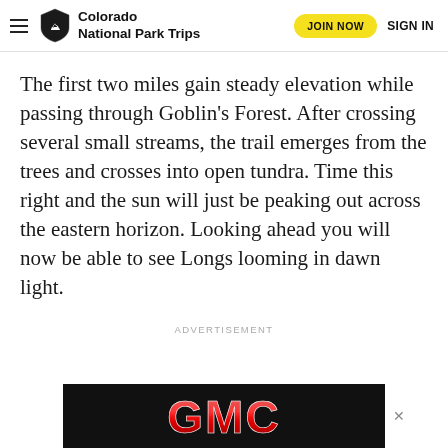Colorado National Park Trips | JOIN NOW | SIGN IN
The first two miles gain steady elevation while passing through Goblin’s Forest. After crossing several small streams, the trail emerges from the trees and crosses into open tundra. Time this right and the sun will just be peaking out across the eastern horizon. Looking ahead you will now be able to see Longs looming in dawn light.
ADVERTISEMENT
[Figure (logo): GMC logo on black banner at bottom of page]